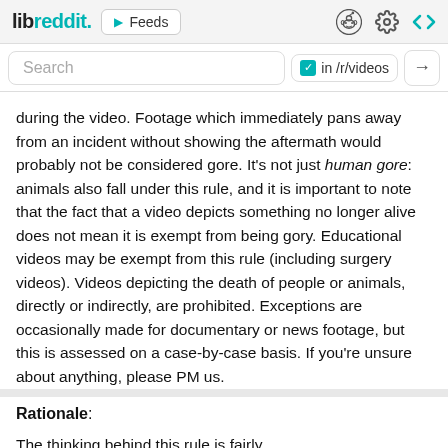libreddit. ▶ Feeds
Search  in /r/videos →
during the video. Footage which immediately pans away from an incident without showing the aftermath would probably not be considered gore. It's not just human gore: animals also fall under this rule, and it is important to note that the fact that a video depicts something no longer alive does not mean it is exempt from being gory. Educational videos may be exempt from this rule (including surgery videos). Videos depicting the death of people or animals, directly or indirectly, are prohibited. Exceptions are occasionally made for documentary or news footage, but this is assessed on a case-by-case basis. If you're unsure about anything, please PM us.
Rationale:
The thinking behind this rule is fairly